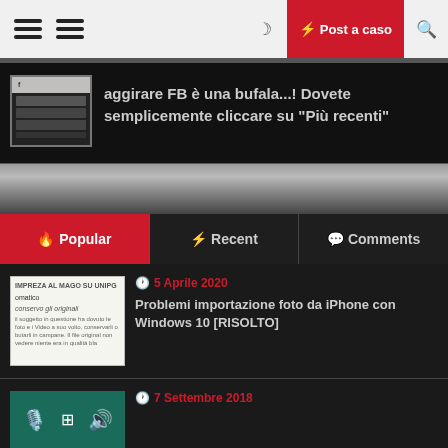Post a caso
aggirare FB è una bufala...! Dovete semplicemente cliccare su "Più recenti"
Popular | Recent | Comments
5 Aprile 2020
Problemi importazione foto da iPhone con Windows 10 [RISOLTO]
7 Settembre 2018
ienza, che cos'è ?
Non siamo nella stessa barca...!